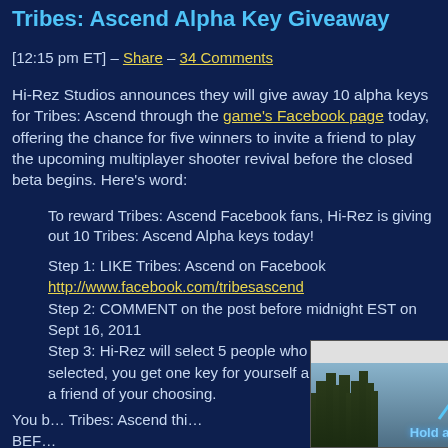Tribes: Ascend Alpha Key Giveaway
[12:15 pm ET] – Share – 34 Comments
Hi-Rez Studios announces they will give away 10 alpha keys for Tribes: Ascend through the game's Facebook page today, offering the chance for five winners to invite a friend to play the upcoming multiplayer shooter revival before the closed beta begins. Here's word:
To reward Tribes: Ascend Facebook fans, Hi-Rez is giving out 10 Tribes: Ascend Alpha keys today!

Step 1: LIKE Tribes: Ascend on Facebook
http://www.facebook.com/tribesascend
Step 2: COMMENT on the post before midnight EST on Sept 16, 2011
Step 3: Hi-Rez will select 5 people who commented. If selected, you get one key for yourself and another key for a friend of your choosing.
You b... Tribes: Ascend this... BEF...
[Figure (screenshot): Advertisement overlay showing 'Hold and Move' app/game with trees silhouette background and close/help buttons in top-right corner]